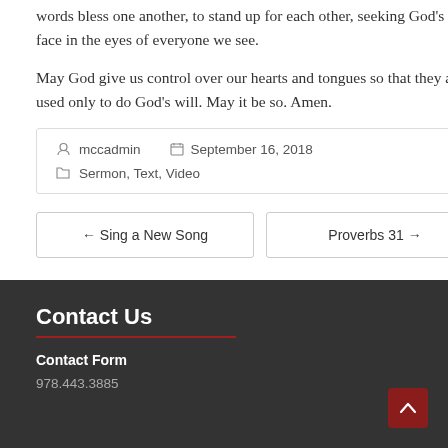words bless one another, to stand up for each other, seeking God's holy face in the eyes of everyone we see.
May God give us control over our hearts and tongues so that they are used only to do God's will. May it be so. Amen.
mccadmin   September 16, 2018
Sermon, Text, Video
← Sing a New Song
Proverbs 31 →
Contact Us
Contact Form
978.443.3885